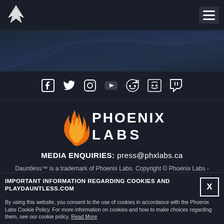[Figure (logo): Phoenix Labs bird/wing logo mark in white on dark background]
[Figure (illustration): Dark blue hero image with stylized wings or weapon silhouette]
[Figure (infographic): Social media icons row: Facebook, Twitter, Instagram, YouTube, Reddit, Discord, Twitch]
[Figure (logo): Phoenix Labs logo: orange flame icon with PHOENIX LABS text in white caps]
MEDIA ENQUIRIES: press@phxlabs.ca
Dauntless™ is a trademark of Phoenix Labs. Copyright © Phoenix Labs - All Rights Reserved.
PRIVACY POLICY   |   TERMS OF SERVICE
[Figure (other): ESRB rating badges: orange 10+ badge and white TEEN box with Violence descriptor]
IMPORTANT INFORMATION REGARDING COOKIES AND PLAYDAUNTLESS.COM
By using this website, you consent to the use of cookies in accordance with the Phoenix Labs Cookie Policy. For more information on cookies and how to make choices regarding them, see our cookie policy. Read More